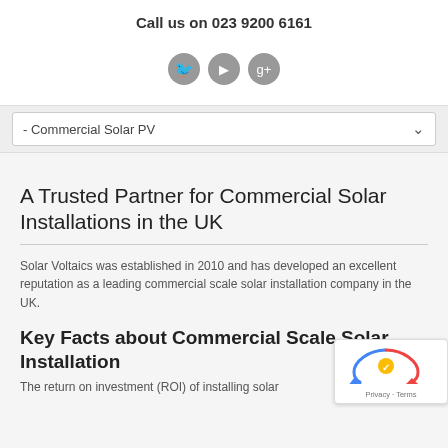Call us on 023 9200 6161
[Figure (other): Social media icons: Twitter, YouTube, Google+]
- Commercial Solar PV
A Trusted Partner for Commercial Solar Installations in the UK
Solar Voltaics was established in 2010 and has developed an excellent reputation as a leading commercial scale solar installation company in the UK.
Key Facts about Commercial Scale Solar Installation
The return on investment (ROI) of installing solar...
[Figure (logo): reCAPTCHA badge with Privacy and Terms text]